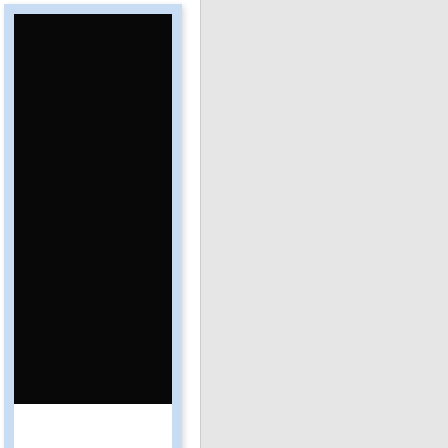[Figure (photo): A product or book cover image shown in a light blue framed card on the left panel. The image itself is mostly black/dark.]
[Figure (other): A yellow rectangular button or label bar below the photo card.]
yderabad
/6